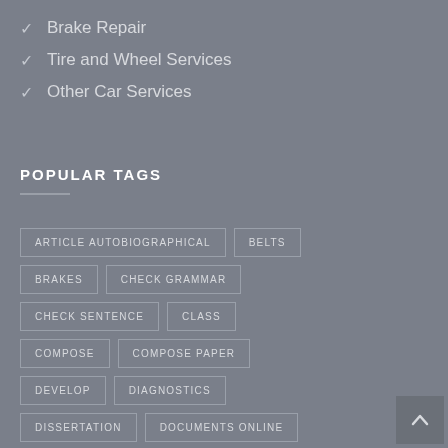Brake Repair
Tire and Wheel Services
Other Car Services
POPULAR TAGS
ARTICLE AUTOBIOGRAPHICAL
BELTS
BRAKES
CHECK GRAMMAR
CHECK SENTENCE
CLASS
COMPOSE
COMPOSE PAPER
DEVELOP
DIAGNOSTICS
DISSERTATION
DOCUMENTS ONLINE